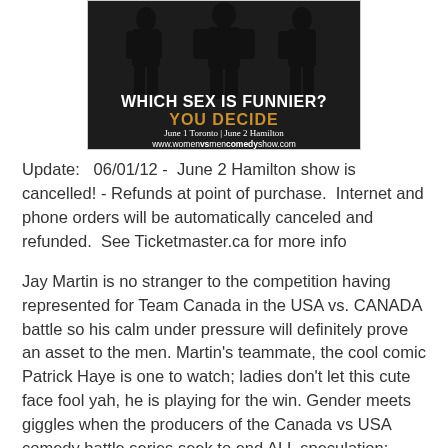[Figure (illustration): Promotional poster for 'Which Sex Is Funnier? You Decide' comedy show with dark background showing silhouettes of performers. Text reads: WHICH SEX IS FUNNIER? YOU DECIDE, June 1 Toronto | June 2 Hamilton, www.womenvsmencomedyshow.com]
Update:   06/01/12 -  June 2 Hamilton show is cancelled! - Refunds at point of purchase.  Internet and phone orders will be automatically canceled and refunded.  See Ticketmaster.ca for more info
Jay Martin is no stranger to the competition having represented for Team Canada in the USA vs. CANADA battle so his calm under pressure will definitely prove an asset to the men. Martin's teammate, the cool comic Patrick Haye is one to watch; ladies don't let this cute face fool yah, he is playing for the win. Gender meets giggles when the producers of the Canada vs USA comedy battle series seek to end ALL speculation: who's funnier; men or women? The Women vs. Men comedy show features 4 of Canada's funniest, including Canada's king of comedy, Jay Martin and funny man Patrick Haye. They'll head in to battle for the men while the fierce-tongued Keesha Brownie and the wickedly